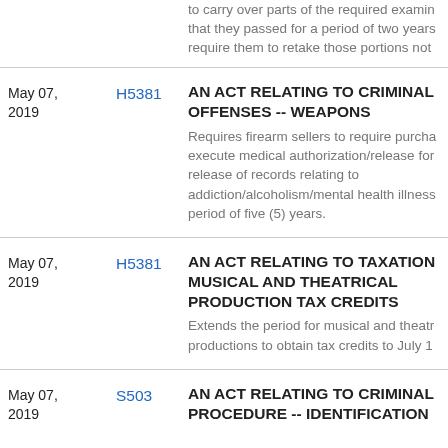to carry over parts of the required examination that they passed for a period of two years and require them to retake those portions not
May 07, 2019
H5381
AN ACT RELATING TO CRIMINAL OFFENSES -- WEAPONS
Requires firearm sellers to require purchasers to execute medical authorization/release for the release of records relating to addiction/alcoholism/mental health illness for a period of five (5) years.
May 07, 2019
H5381
AN ACT RELATING TO TAXATION -- MUSICAL AND THEATRICAL PRODUCTION TAX CREDITS
Extends the period for musical and theatrical productions to obtain tax credits to July 1...
May 07, 2019
S503
AN ACT RELATING TO CRIMINAL PROCEDURE -- IDENTIFICATION